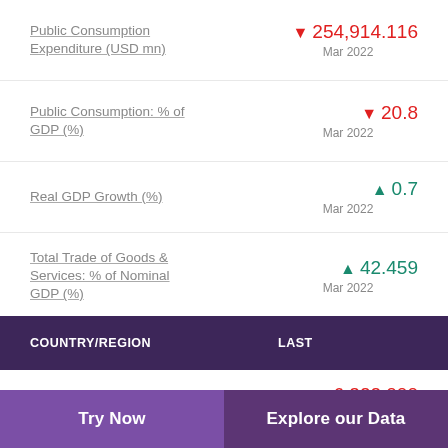Public Consumption Expenditure (USD mn) ▼ 254,914.116 Mar 2022
Public Consumption: % of GDP (%) ▼ 20.8 Mar 2022
Real GDP Growth (%) ▲ 0.7 Mar 2022
Total Trade of Goods & Services: % of Nominal GDP (%) ▲ 42.459 Mar 2022
| COUNTRY/REGION | LAST |
| --- | --- |
| Gold Production (kg) | ▼ 6,322.000 |
Try Now | Explore our Data